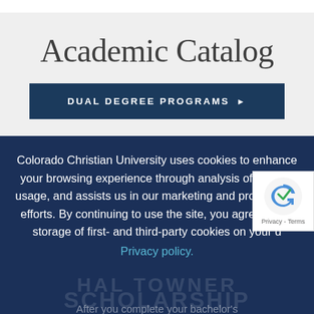Academic Catalog
DUAL DEGREE PROGRAMS ▶
Colorado Christian University uses cookies to enhance your browsing experience through analysis of our site usage, and assists us in our marketing and promotional efforts. By continuing to use the site, you agree to the storage of first- and third-party cookies on your device. Privacy policy.
After you complete your bachelor's
Apply
Request Info